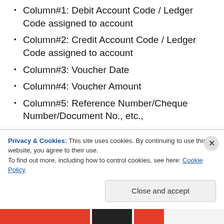Column#1: Debit Account Code / Ledger Code assigned to account
Column#2: Credit Account Code / Ledger Code assigned to account
Column#3: Voucher Date
Column#4: Voucher Amount
Column#5: Reference Number/Cheque Number/Document No., etc.,
Column#6: Narration
You can <Double Click> in the grid to remove any garbage or any entry which you wish to Remove/Delete
Privacy & Cookies: This site uses cookies. By continuing to use this website, you agree to their use. To find out more, including how to control cookies, see here: Cookie Policy